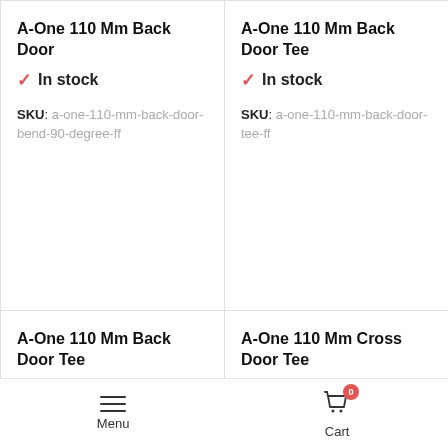A-One 110 Mm Back Door
In stock
SKU: a-one-110-mm-back-door-bend-90-degree-ff
A-One 110 Mm Back Door Tee
In stock
SKU: a-one-110-mm-back-door-tee-ff
A-One 110 Mm Back Door Tee
In stock
A-One 110 Mm Cross Door Tee
In stock
Menu    Cart